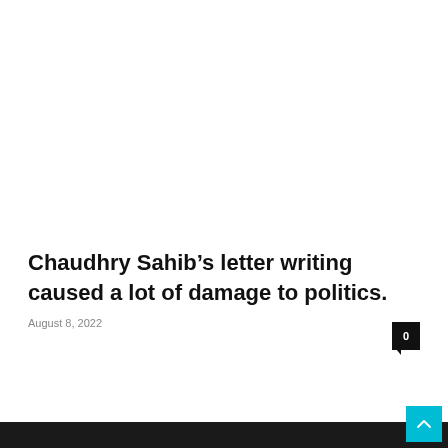Chaudhry Sahib's letter writing caused a lot of damage to politics.
August 8, 2022
0